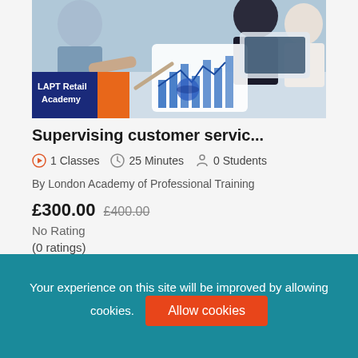[Figure (photo): Business meeting photo showing people looking at charts and a tablet, with LAPT Retail Academy logo overlay in bottom-left (dark blue and orange badge)]
Supervising customer servic...
1 Classes  25 Minutes  0 Students
By London Academy of Professional Training
£300.00  £400.00
No Rating
(0 ratings)
Your experience on this site will be improved by allowing cookies.  Allow cookies